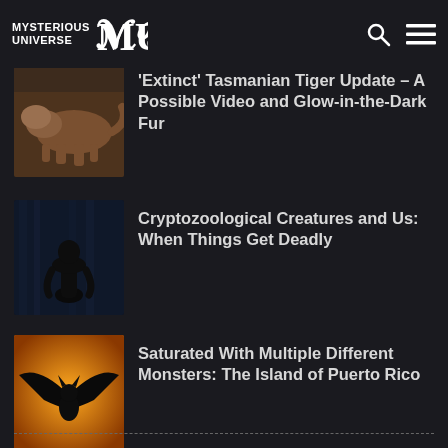MYSTERIOUS UNIVERSE
[Figure (photo): Tasmanian Tiger animal thumbnail image]
'Extinct' Tasmanian Tiger Update – A Possible Video and Glow-in-the-Dark Fur
[Figure (photo): Dark forest creature silhouette thumbnail]
Cryptozoological Creatures and Us: When Things Get Deadly
[Figure (photo): Bat-like creature against orange background thumbnail]
Saturated With Multiple Different Monsters: The Island of Puerto Rico